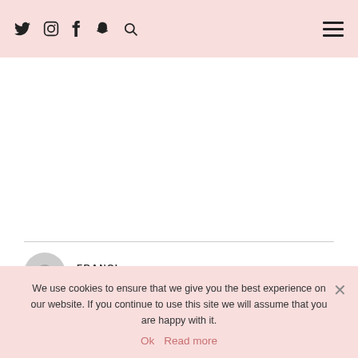Social icons header bar with Twitter, Instagram, Facebook, Snapchat, Search icons and hamburger menu
FRANCI
FEBRUARY 8, 2016 / 4:01 AM
WOW dear, stunning look, this long dress is really cool and the white blazer is perfect to complete the outfit! Kisses! F.
La Civetta Stilosa
We use cookies to ensure that we give you the best experience on our website. If you continue to use this site we will assume that you are happy with it.
Ok  Read more